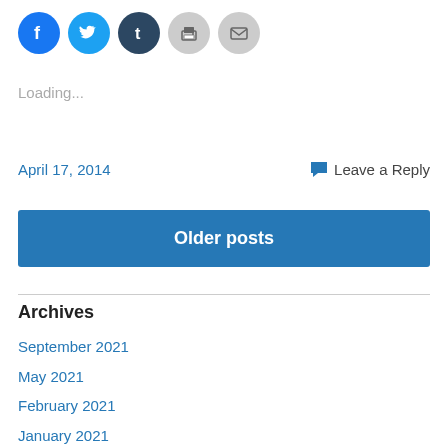[Figure (other): Row of five social sharing icon circles: Facebook (blue), Twitter (light blue), Tumblr (dark navy), Print (gray), Email (gray)]
Loading...
April 17, 2014    💬 Leave a Reply
Older posts
Archives
September 2021
May 2021
February 2021
January 2021
December 2020